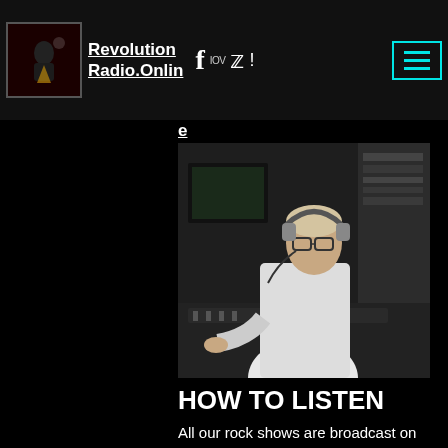Revolution Radio.Online
[Figure (photo): Radio DJ wearing headphones at a broadcast mixing desk in a studio, operating equipment.]
HOW TO LISTEN
All our rock shows are broadcast on the /revolutionone link with the mixed genre shows that used to be on CFRXtra now along side on the one stream. All our main shows also have chat-rooms for you to chat with the DJ and other listeners with during the show (or indeed a Coffee Shop chat-room for you to just drop in)- sign up now at https://www.revolutionradio.online/f